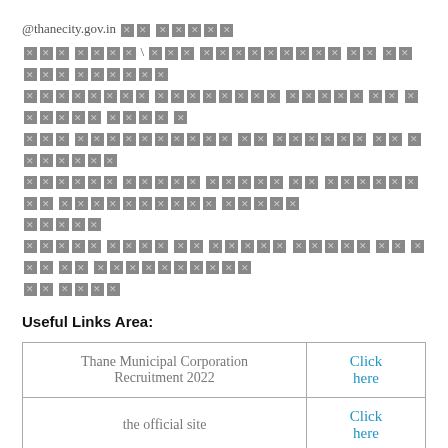@thanecity.gov.in [redacted text block]
[redacted text lines - multiple lines of redacted content]
Useful Links Area:
|  |  |
| --- | --- |
| Thane Municipal Corporation Recruitment 2022 | Click here |
| the official site | Click here |
| Visit Our Website | Click here |